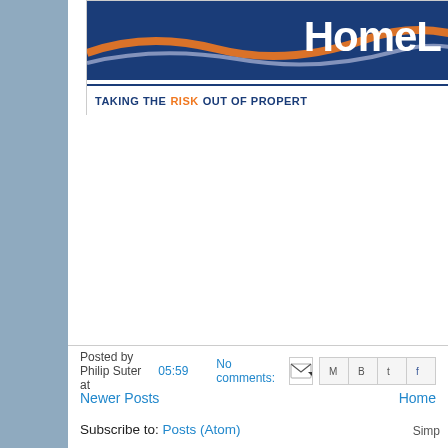[Figure (logo): HomeL... logo banner with blue background, orange/white wave swoosh, text 'TAKING THE RISK OUT OF PROPERT' in navy and orange]
Posted by Philip Suter at 05:59   No comments:
Newer Posts   Home
Subscribe to: Posts (Atom)
Simp